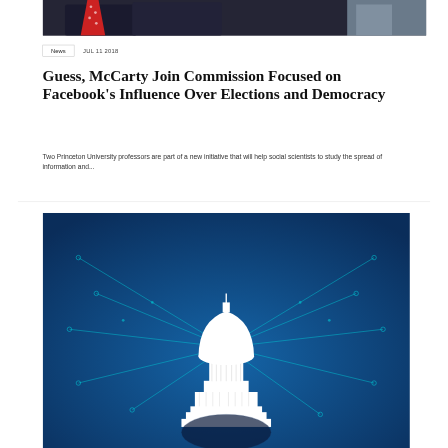[Figure (photo): Top portion of a photo showing two people in suits, one with a red tie, against a dark background]
News   JUL 11 2018
Guess, McCarty Join Commission Focused on Facebook's Influence Over Elections and Democracy
Two Princeton University professors are part of a new initiative that will help social scientists to study the spread of information and...
[Figure (illustration): Digital illustration of the U.S. Capitol building dome in white silhouette against a blue circuit board background with glowing teal circuit lines and nodes radiating outward]